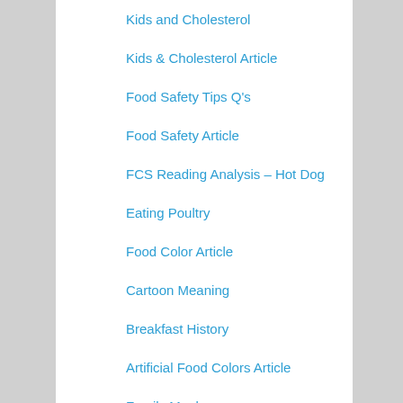Kids and Cholesterol
Kids & Cholesterol Article
Food Safety Tips Q's
Food Safety Article
FCS Reading Analysis – Hot Dog
Eating Poultry
Food Color Article
Cartoon Meaning
Breakfast History
Artificial Food Colors Article
Family Meals